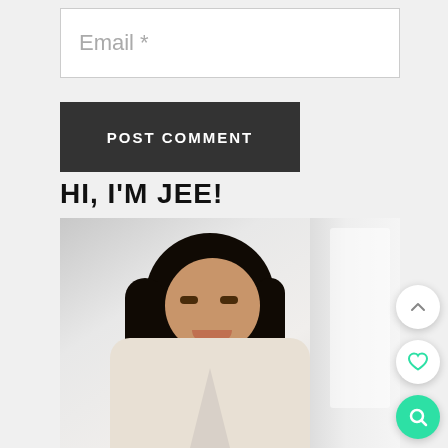Email *
POST COMMENT
HI, I'M JEE!
[Figure (photo): Photo of a smiling Asian woman with long dark hair, wearing a light-colored top, photographed in a bright white interior setting.]